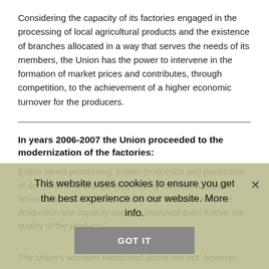Considering the capacity of its factories engaged in the processing of local agricultural products and the existence of branches allocated in a way that serves the needs of its members, the Union has the power to intervene in the formation of market prices and contributes, through competition, to the achievement of a higher economic turnover for the producers.
In years 2006-2007 the Union proceeded to the modernization of the factories:
Edible olives processing, fodder production and production of dehydrated alfalfa (pellets) having invested a capital amounting to 2,000,000 €. The Union has increased the production line capacity and has improved even further the quality of the products.
The Union's activities mentioned above are not, however,